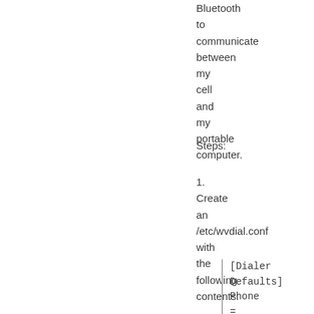Bluetooth to communicate between my cell and my portable computer.
Steps:
1. Create an /etc/wvdial.conf with the following contents:
[Dialer Defaults]
Phone = *99***1#
Username = orange
Password =